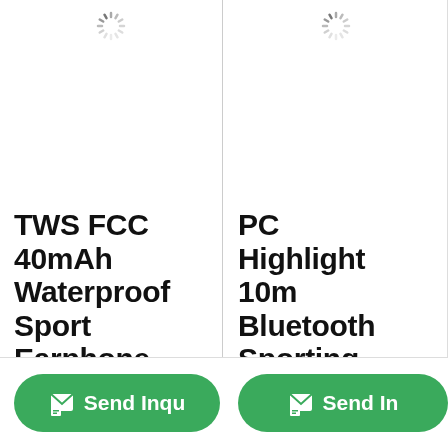[Figure (other): Loading spinner icon at top center of left product card]
TWS FCC 40mAh Waterproof Sport Earphone Led .  __
[Figure (other): Loading spinner icon at top center of right product card]
PC Highlight 10m Bluetooth Sporting TWS.  .
Send Inqu
Send In